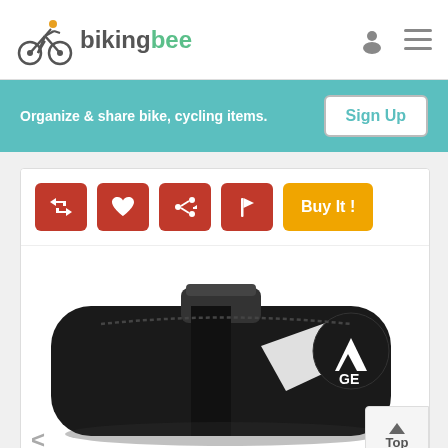[Figure (logo): BikingBee logo with cyclist icon and brand name in grey and green]
Organize & share bike, cycling items.
Sign Up
[Figure (screenshot): Product action buttons: retweet, heart, share, flag (red), and Buy It! (orange)]
[Figure (photo): Black bicycle saddle bag with white GE logo on a white background]